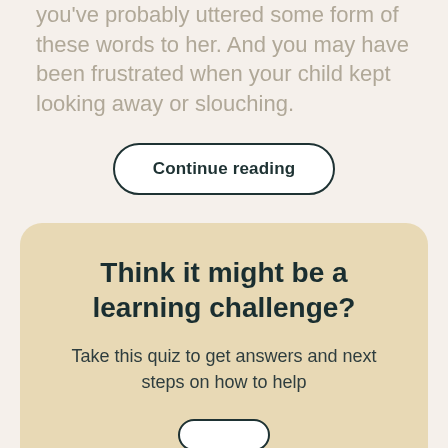you've probably uttered some form of these words to her. And you may have been frustrated when your child kept looking away or slouching.
Continue reading
Think it might be a learning challenge?
Take this quiz to get answers and next steps on how to help